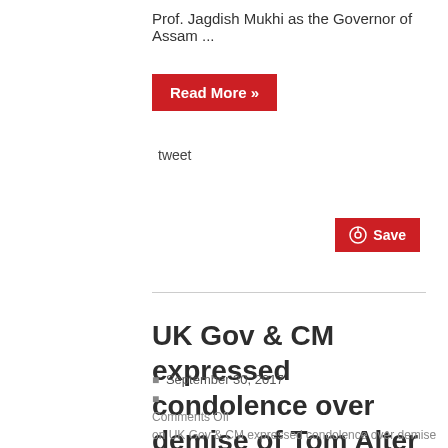Prof. Jagdish Mukhi as the Governor of Assam ...
Read More »
tweet
Save
UK Gov & CM expressed condolence over demise of Tom Alter
September 30, 2017
Comments Off on UK Gov & CM expressed condolence over demise of Tom Alter